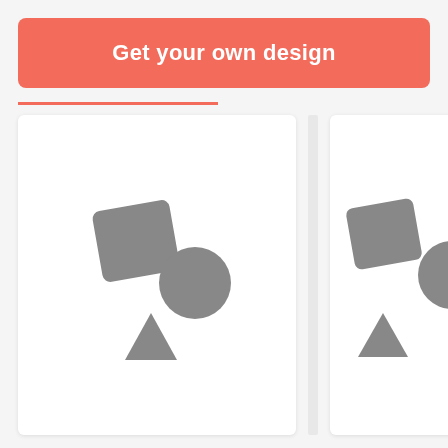Get your own design
[Figure (illustration): Placeholder card image with grey square, circle, and triangle shapes on white background, attributed to SajaddaH]
[Figure (illustration): Placeholder card image with grey square, circle, and triangle shapes on white background, attributed to ranmei (partially visible)]
by SajaddaH
by ranmei
87